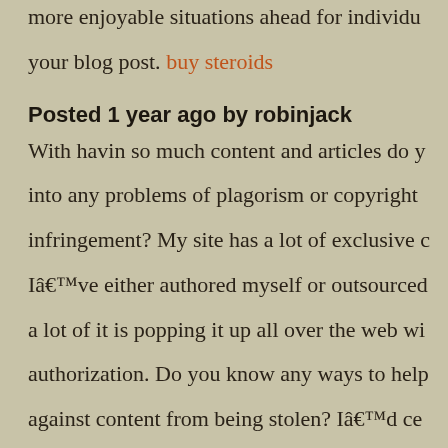more enjoyable situations ahead for individu… your blog post. buy steroids
Posted 1 year ago by robinjack
With havin so much content and articles do y… into any problems of plagorism or copyright … infringement? My site has a lot of exclusive c… Iâ€™ve either authored myself or outsourced… a lot of it is popping it up all over the web wi… authorization. Do you know any ways to help … against content from being stolen? Iâ€™d ce… appreciate it. delta 8 gummies energy
Posted 12 months ago by robinjack
I as well as my friends ended up going throug…